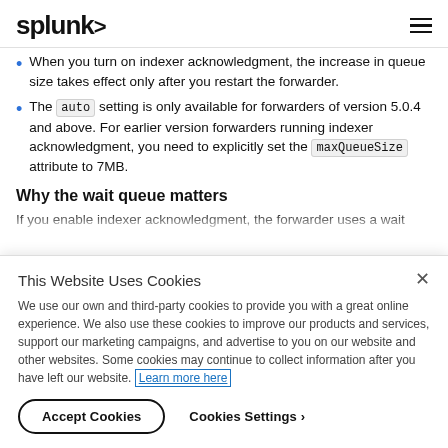splunk>
When you turn on indexer acknowledgment, the increase in queue size takes effect only after you restart the forwarder.
The auto setting is only available for forwarders of version 5.0.4 and above. For earlier version forwarders running indexer acknowledgment, you need to explicitly set the maxQueueSize attribute to 7MB.
Why the wait queue matters
If you enable indexer acknowledgment, the forwarder uses a wait
This Website Uses Cookies
We use our own and third-party cookies to provide you with a great online experience. We also use these cookies to improve our products and services, support our marketing campaigns, and advertise to you on our website and other websites. Some cookies may continue to collect information after you have left our website. Learn more here
Accept Cookies   Cookies Settings ›